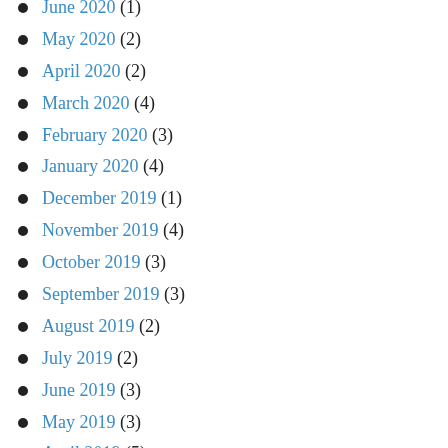June 2020 (1)
May 2020 (2)
April 2020 (2)
March 2020 (4)
February 2020 (3)
January 2020 (4)
December 2019 (1)
November 2019 (4)
October 2019 (3)
September 2019 (3)
August 2019 (2)
July 2019 (2)
June 2019 (3)
May 2019 (3)
April 2019 (5)
March 2019 (6)